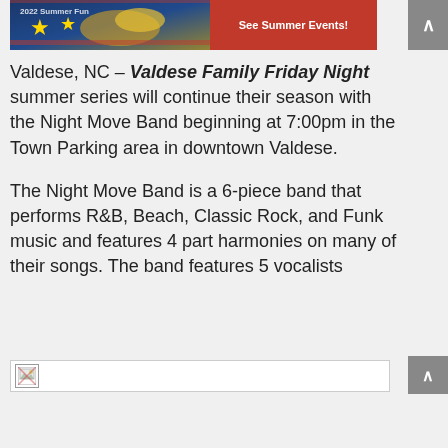[Figure (screenshot): Banner advertisement with patriotic imagery on the left and a red 'See Summer Events!' button on the right]
Valdese, NC – Valdese Family Friday Night summer series will continue their season with the Night Move Band beginning at 7:00pm in the Town Parking area in downtown Valdese.
The Night Move Band is a 6-piece band that performs R&B, Beach, Classic Rock, and Funk music and features 4 part harmonies on many of their songs. The band features 5 vocalists
[Figure (photo): Broken image placeholder]